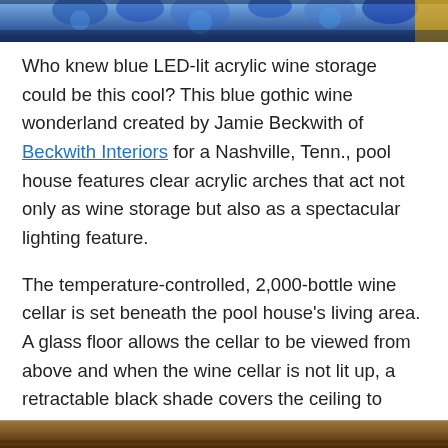[Figure (photo): Partial view of blue LED-lit acrylic wine storage, cropped at top of page]
Who knew blue LED-lit acrylic wine storage could be this cool? This blue gothic wine wonderland created by Jamie Beckwith of Beckwith Interiors for a Nashville, Tenn., pool house features clear acrylic arches that act not only as wine storage but also as a spectacular lighting feature.
The temperature-controlled, 2,000-bottle wine cellar is set beneath the pool house's living area. A glass floor allows the cellar to be viewed from above and when the wine cellar is not lit up, a retractable black shade covers the ceiling to keep out unnecessary light.
California Chic
[Figure (photo): Partial view of another interior photo, cropped at bottom of page]